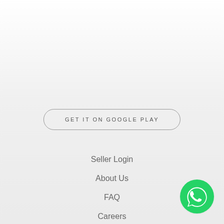GET IT ON GOOGLE PLAY
Seller Login
About Us
FAQ
Careers
Returns & Refunds
[Figure (logo): WhatsApp green chat bubble icon with white phone handset]